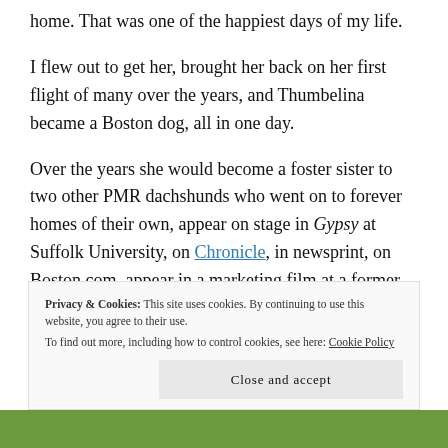home. That was one of the happiest days of my life.
I flew out to get her, brought her back on her first flight of many over the years, and Thumbelina became a Boston dog, all in one day.
Over the years she would become a foster sister to two other PMR dachshunds who went on to forever homes of their own, appear on stage in Gypsy at Suffolk University, on Chronicle, in newsprint, on Boston.com, appear in a marketing film at a former employer, win
Privacy & Cookies: This site uses cookies. By continuing to use this website, you agree to their use.
To find out more, including how to control cookies, see here: Cookie Policy
Close and accept
[Figure (photo): Green strip at the bottom of the page, appearing to be a grass or outdoor photo.]